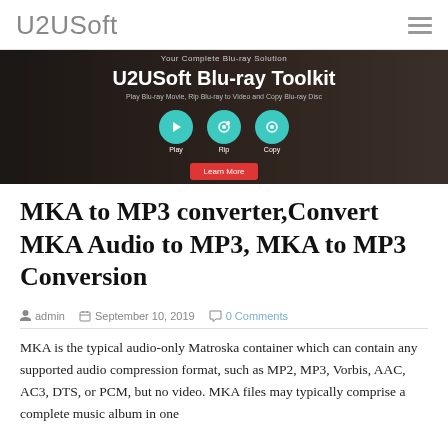U2USoft
[Figure (screenshot): U2USoft Blu-ray Toolkit promotional banner with dark background, showing Play, Rip, Copy icons and a Learn More button]
MKA to MP3 converter,Convert MKA Audio to MP3, MKA to MP3 Conversion
admin  September 10, 2019  0 Comments
MKA is the typical audio-only Matroska container which can contain any supported audio compression format, such as MP2, MP3, Vorbis, AAC, AC3, DTS, or PCM, but no video. MKA files may typically comprise a complete music album in one